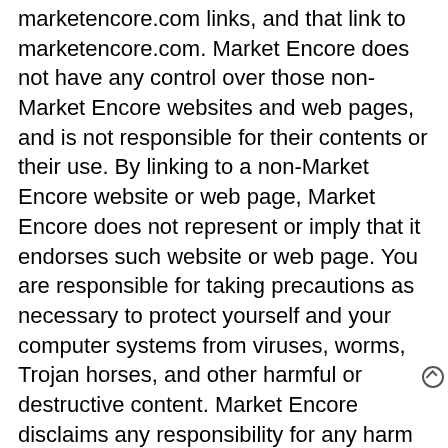marketencore.com links, and that link to marketencore.com. Market Encore does not have any control over those non-Market Encore websites and web pages, and is not responsible for their contents or their use. By linking to a non-Market Encore website or web page, Market Encore does not represent or imply that it endorses such website or web page. You are responsible for taking precautions as necessary to protect yourself and your computer systems from viruses, worms, Trojan horses, and other harmful or destructive content. Market Encore disclaims any responsibility for any harm resulting from your use of Market Encore websites and web pages.
Copyright Infringement and DMCA Policy. As Market Encore asks others to respect its intellectual property rights, it respects the intellectual property